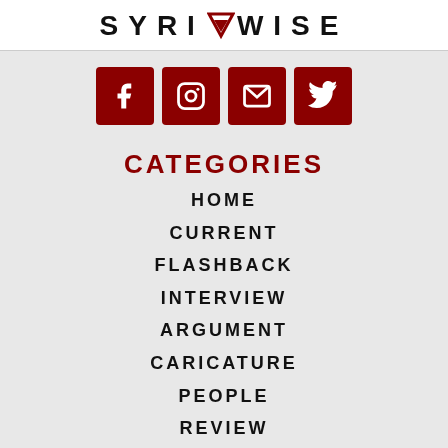[Figure (logo): SYRIAWISE logo with a downward triangle/arrow emblem between SYRI and WISE in large spaced uppercase letters]
[Figure (infographic): Four dark red square social media icon buttons in a row: Facebook (f), Instagram (camera/circle), Email (envelope), Twitter (bird)]
CATEGORIES
HOME
CURRENT
FLASHBACK
INTERVIEW
ARGUMENT
CARICATURE
PEOPLE
REVIEW
PICKS